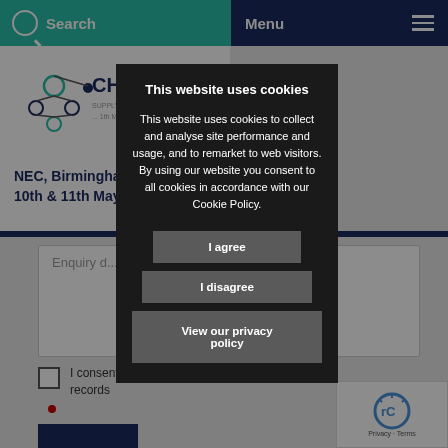Search   Menu
[Figure (logo): CHEMUK Supply Chain + Process logo with molecular graphic]
NEC, Birmingham
10th & 11th May
Enquiry details
I consent to storing your records
This website uses cookies
This website uses cookies to collect and analyse site performance and usage, and to remarket to web visitors. By using our website you consent to all cookies in accordance with our Cookie Policy.
I agree
I disagree
View our privacy policy